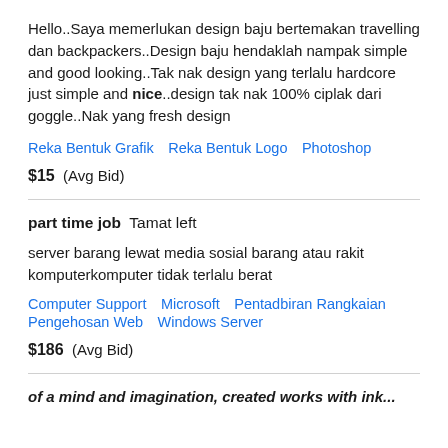Hello..Saya memerlukan design baju bertemakan travelling dan backpackers..Design baju hendaklah nampak simple and good looking..Tak nak design yang terlalu hardcore just simple and nice..design tak nak 100% ciplak dari goggle..Nak yang fresh design
Reka Bentuk Grafik   Reka Bentuk Logo   Photoshop
$15  (Avg Bid)
part time job   Tamat left
server barang lewat media sosial barang atau rakit komputerkomputer tidak terlalu berat
Computer Support   Microsoft   Pentadbiran Rangkaian   Pengehosan Web   Windows Server
$186  (Avg Bid)
of a mind and imagination, created works with ink...